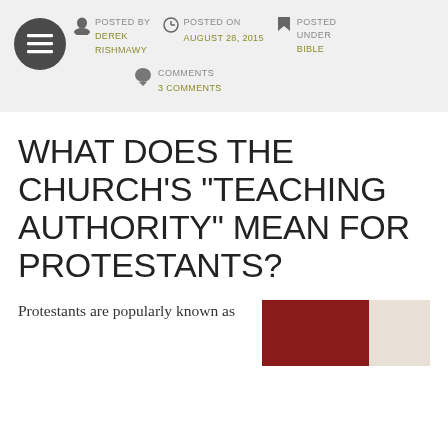POSTED BY DEREK RISHMAWY | POSTED ON AUGUST 28, 2015 | POSTED UNDER BIBLE | COMMENTS 3 COMMENTS
WHAT DOES THE CHURCH’S “TEACHING AUTHORITY” MEAN FOR PROTESTANTS?
Protestants are popularly known as
[Figure (photo): Partial image showing a dark red/maroon rectangle next to a light beige rectangle, appearing to be a cropped book or document cover.]